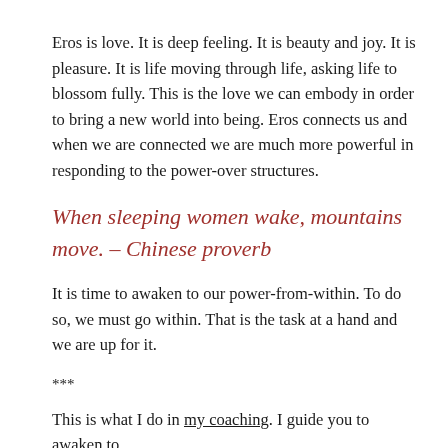Eros is love. It is deep feeling. It is beauty and joy. It is pleasure. It is life moving through life, asking life to blossom fully. This is the love we can embody in order to bring a new world into being. Eros connects us and when we are connected we are much more powerful in responding to the power-over structures.
When sleeping women wake, mountains move. – Chinese proverb
It is time to awaken to our power-from-within. To do so, we must go within. That is the task at a hand and we are up for it.
***
This is what I do in my coaching. I guide you to awaken to